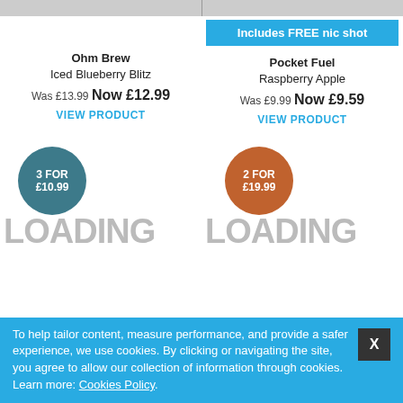Ohm Brew
Iced Blueberry Blitz

Was £13.99 Now £12.99

VIEW PRODUCT
Includes FREE nic shot

Pocket Fuel
Raspberry Apple

Was £9.99 Now £9.59

VIEW PRODUCT
[Figure (other): Teal circle badge reading: 3 FOR £10.99]
[Figure (other): Orange circle badge reading: 2 FOR £19.99]
LOADING LOADING
To help tailor content, measure performance, and provide a safer experience, we use cookies. By clicking or navigating the site, you agree to allow our collection of information through cookies. Learn more: Cookies Policy.